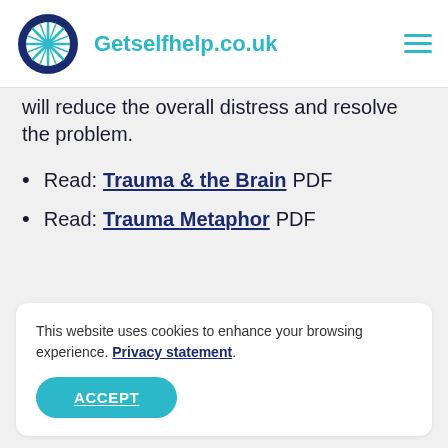Getselfhelp.co.uk
will reduce the overall distress and resolve the problem.
Read: Trauma & the Brain PDF
Read: Trauma Metaphor PDF
This website uses cookies to enhance your browsing experience. Privacy statement.
ACCEPT